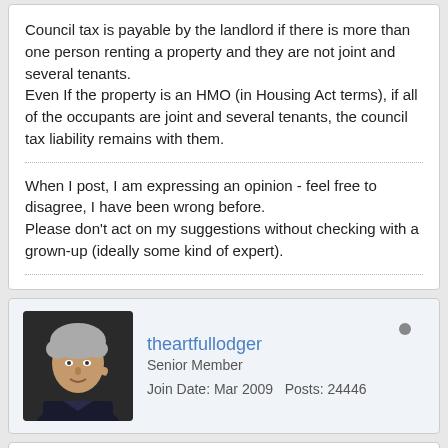Council tax is payable by the landlord if there is more than one person renting a property and they are not joint and several tenants.
Even If the property is an HMO (in Housing Act terms), if all of the occupants are joint and several tenants, the council tax liability remains with them.
When I post, I am expressing an opinion - feel free to disagree, I have been wrong before.
Please don't act on my suggestions without checking with a grown-up (ideally some kind of expert).
theartfullodger
Senior Member
Join Date: Mar 2009   Posts: 24446
26-01-2022, 10:19 AM
#6
Take this seriously. Council tax debt is I think the only debt you can